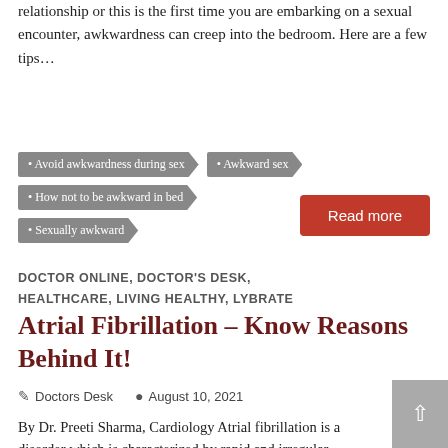relationship or this is the first time you are embarking on a sexual encounter, awkwardness can creep into the bedroom. Here are a few tips…
Avoid awkwardness during sex
Awkward sex
How not to be awkward in bed
Sexually awkward
Read more
DOCTOR ONLINE, DOCTOR'S DESK, HEALTHCARE, LIVING HEALTHY, LYBRATE
Atrial Fibrillation – Know Reasons Behind It!
Doctors Desk   August 10, 2021
By Dr. Preeti Sharma, Cardiology Atrial fibrillation is a disorder which is characterized by rapid and irregular heartbeats which raise the risk of heart failure and strokes, this disorder…